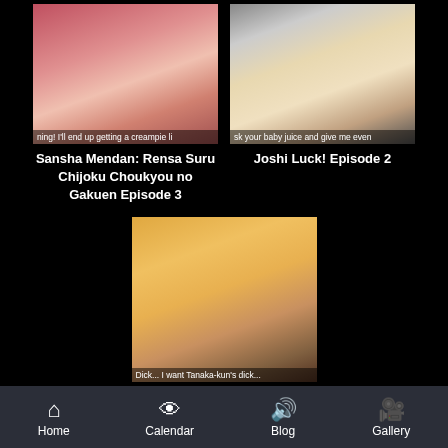[Figure (screenshot): Thumbnail image for Sansha Mendan anime episode with subtitle text]
[Figure (screenshot): Thumbnail image for Joshi Luck! anime episode with subtitle text]
Sansha Mendan: Rensa Suru Chijoku Choukyou no Gakuen Episode 3
Joshi Luck! Episode 2
[Figure (screenshot): Thumbnail image for Saimin Seishidou anime episode with subtitle text]
Saimin Seishidou Episode
Home  Calendar  Blog  Gallery